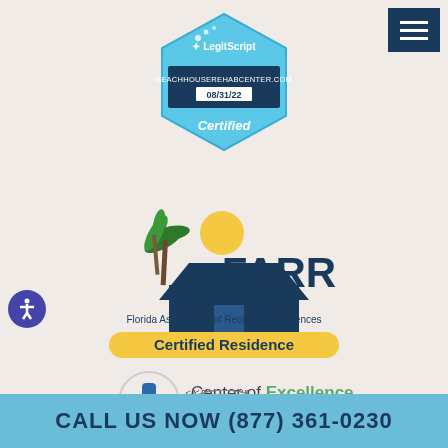[Figure (logo): LegitScript Certified badge — hexagonal blue badge with LegitScript logo, website BEACHHOUSEREHABCENTER.COM, date 08/31/22, and text Certified]
[Figure (logo): FARR — Florida Association of Recovery Residences logo with palm trees, house icon, yellow sun, and yellow 'Certified Residence' banner]
[Figure (logo): Center of Excellence Behavioral Health logo — circular icon with green and blue plus/cross symbol, text 'Center of Excellence' and 'BEHAVIORAL HEALTH']
[Figure (logo): Partial Florida Department seal/logo visible at bottom of content area]
CALL US NOW (877) 361-0230